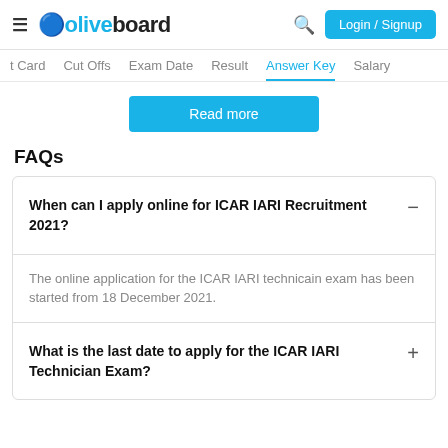Oliveboard - Login / Signup
t Card | Cut Offs | Exam Date | Result | Answer Key | Salary
Read more
FAQs
When can I apply online for ICAR IARI Recruitment 2021?
The online application for the ICAR IARI technicain exam has been started from 18 December 2021.
What is the last date to apply for the ICAR IARI Technician Exam?